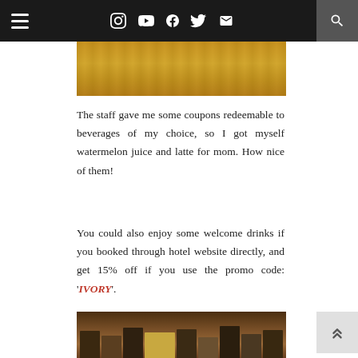Navigation bar with hamburger menu, social icons (Instagram, YouTube, Facebook, Twitter, Email) and search button
[Figure (photo): Close-up photo of a wooden tabletop surface with warm honey-brown tones]
The staff gave me some coupons redeemable to beverages of my choice, so I got myself watermelon juice and latte for mom. How nice of them!
You could also enjoy some welcome drinks if you booked through hotel website directly, and get 15% off if you use the promo code: 'IVORY'.
[Figure (photo): Photo of a wooden bookshelf with books and decorative animal figurines]